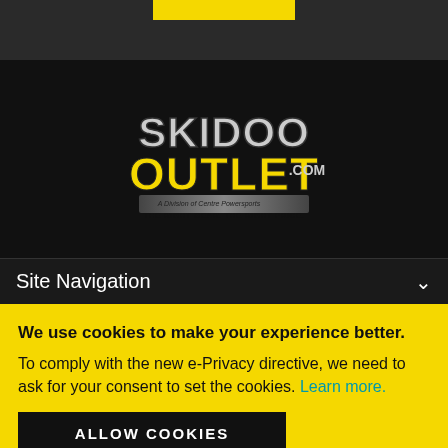[Figure (logo): SkidooOutlet.com logo on black background with yellow and grey text. Tagline: THE RIGHT GEAR. THE RIGHT PRICE.]
Site Navigation
We use cookies to make your experience better. To comply with the new e-Privacy directive, we need to ask for your consent to set the cookies. Learn more.
ALLOW COOKIES